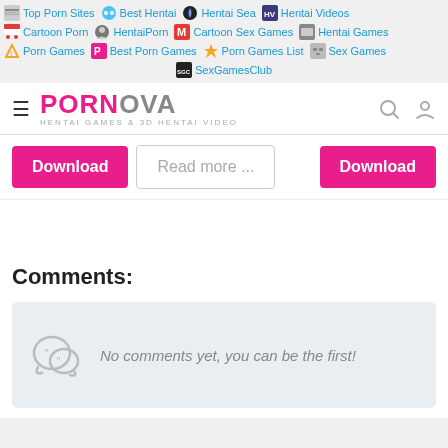Top Porn Sites | Best Hentai | Hentai Sea | Hentai Videos | Cartoon Porn | HentaiPorn | Cartoon Sex Games | Hentai Games | Porn Games | Best Porn Games | Porn Games List | Sex Games | SexGamesClub
[Figure (screenshot): Website navigation bar with PORNOVA logo, HENTAI GAMES & 3D HENTAI VIDEO subtitle, hamburger menu, search and user icons]
[Figure (screenshot): Download button (pink), Read more... button (outlined), and Download button (pink) on white background]
Comments:
[Figure (screenshot): Comment placeholder box with speech bubble icon and italic text: No comments yet, you can be the first!]
[Figure (photo): Circular avatar photo of a person with red notification badge showing 2 and green online indicator dot]